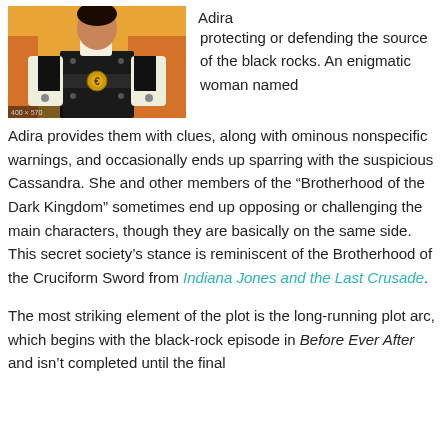[Figure (photo): Animated character Adira in dark costume with orange background]
Adira
protecting or defending the source of the black rocks.  An enigmatic woman named Adira provides them with clues, along with ominous nonspecific warnings, and occasionally ends up sparring with the suspicious Cassandra.  She and other members of the “Brotherhood of the Dark Kingdom” sometimes end up opposing or challenging the main characters, though they are basically on the same side.  This secret society’s stance is reminiscent of the Brotherhood of the Cruciform Sword from Indiana Jones and the Last Crusade.
The most striking element of the plot is the long-running plot arc, which begins with the black-rock episode in Before Ever After and isn’t completed until the final